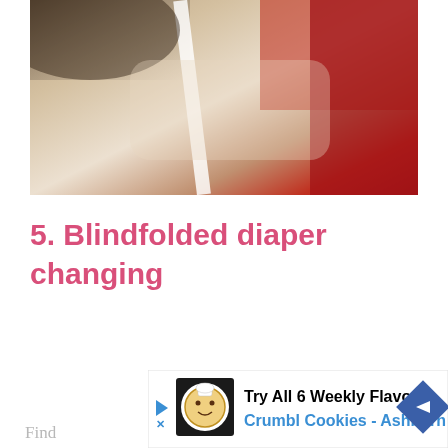[Figure (photo): Close-up photo of what appears to be a diaper changing scene with white and red colors visible]
5. Blindfolded diaper changing
[Figure (infographic): Advertisement banner: Try All 6 Weekly Flavors, Crumbl Cookies - Ashburn, with cookie logo and blue arrow]